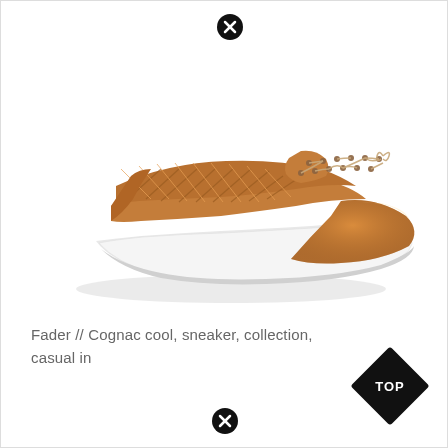[Figure (photo): A tan/cognac woven leather sneaker with white rubber sole and brown laces, photographed on a white background from a three-quarter angle.]
Fader // Cognac cool, sneaker, collection, casual in